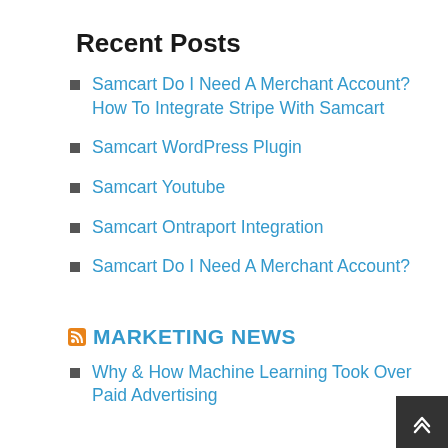Recent Posts
Samcart Do I Need A Merchant Account? How To Integrate Stripe With Samcart
Samcart WordPress Plugin
Samcart Youtube
Samcart Ontraport Integration
Samcart Do I Need A Merchant Account?
MARKETING NEWS
Why & How Machine Learning Took Over Paid Advertising